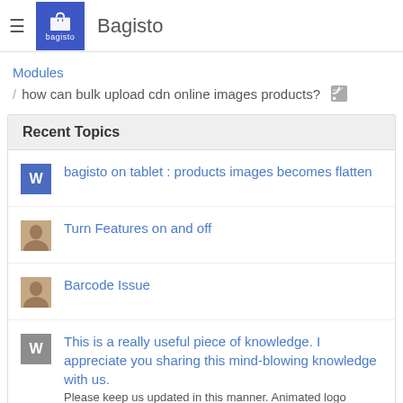Bagisto
Modules
/ how can bulk upload cdn online images products?
Recent Topics
bagisto on tablet : products images becomes flatten
Turn Features on and off
Barcode Issue
This is a really useful piece of knowledge. I appreciate you sharing this mind-blowing knowledge with us. Please keep us updated in this manner. Animated logo